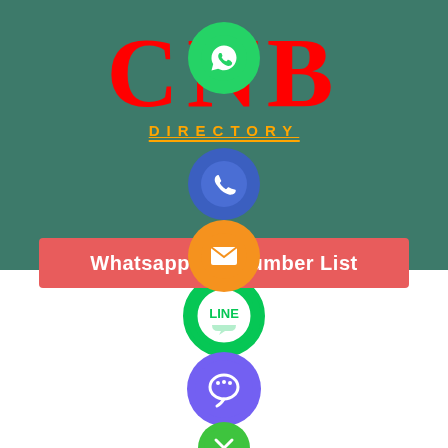[Figure (screenshot): Website header with CNB logo in red on teal background, WhatsApp green circle icon, blue phone circle icon, orange email circle icon, red banner reading 'Whatsapp Number List', LINE circle, Viber circle, close button circle]
we saw it ranked.
cell phone number
mobile number database
mobile number list